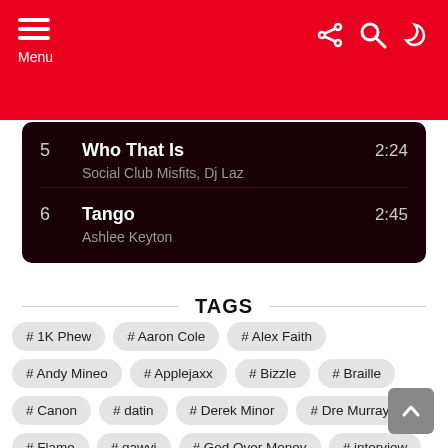Menu
5  Who That Is  2:24
Social Club Misfits, Dj Laz
6  Tango  2:45
Ashlee Keyton
TAGS
# 1K Phew
# Aaron Cole
# Alex Faith
# Andy Mineo
# Applejaxx
# Bizzle
# Braille
# Canon
# datin
# Derek Minor
# Dre Murray
# Flame
# gawvi
# God Over Money
# interview
# Jackie Hill Perry
# json
# KB
# KJ-52
# Lecrae
# Listening Session
# mission
# mixtape
# NF
# nobigdyl.
# Propaganda
# Rapzilla.com Beat Battle